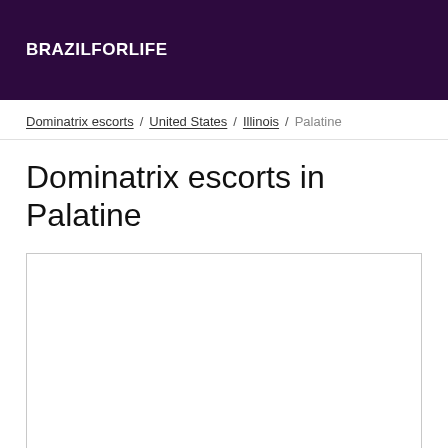BRAZILFORLIFE
Dominatrix escorts / United States / Illinois / Palatine
Dominatrix escorts in Palatine
[Figure (other): Empty white content box with border]